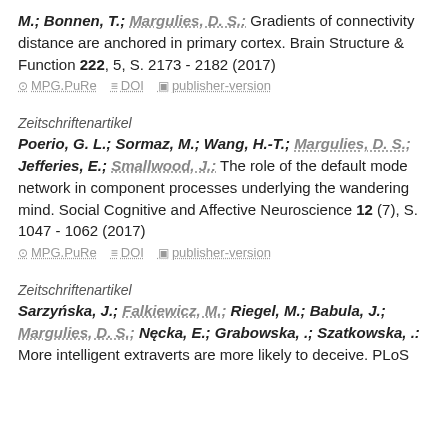M.; Bonnen, T.; Margulies, D. S.: Gradients of connectivity distance are anchored in primary cortex. Brain Structure & Function 222, 5, S. 2173 - 2182 (2017)
MPG.PuRe   DOI   publisher-version
Zeitschriftenartikel
Poerio, G. L.; Sormaz, M.; Wang, H.-T.; Margulies, D. S.; Jefferies, E.; Smallwood, J.: The role of the default mode network in component processes underlying the wandering mind. Social Cognitive and Affective Neuroscience 12 (7), S. 1047 - 1062 (2017)
MPG.PuRe   DOI   publisher-version
Zeitschriftenartikel
Sarzyńska, J.; Falkiewicz, M.; Riegel, M.; Babula, J.; Margulies, D. S.; Nęcka, E.; Grabowska, .; Szatkowska, .: More intelligent extraverts are more likely to deceive. PLoS